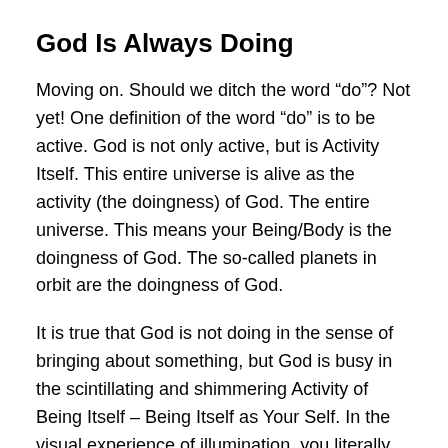God Is Always Doing
Moving on. Should we ditch the word “do”? Not yet! One definition of the word “do” is to be active. God is not only active, but is Activity Itself. This entire universe is alive as the activity (the doingness) of God. The entire universe. This means your Being/Body is the doingness of God. The so-called planets in orbit are the doingness of God.
It is true that God is not doing in the sense of bringing about something, but God is busy in the scintillating and shimmering Activity of Being Itself – Being Itself as Your Self. In the visual experience of illumination, you literally see God’s Doingness (Activity).
Is God Doing the Hurricanes and